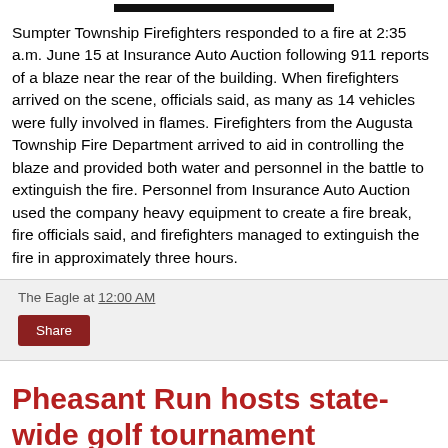[Figure (photo): Dark image bar at top of page (partial photo crop)]
Sumpter Township Firefighters responded to a fire at 2:35 a.m. June 15 at Insurance Auto Auction following 911 reports of a blaze near the rear of the building. When firefighters arrived on the scene, officials said, as many as 14 vehicles were fully involved in flames. Firefighters from the Augusta Township Fire Department arrived to aid in controlling the blaze and provided both water and personnel in the battle to extinguish the fire. Personnel from Insurance Auto Auction used the company heavy equipment to create a fire break, fire officials said, and firefighters managed to extinguish the fire in approximately three hours.
The Eagle at 12:00 AM
Share
Pheasant Run hosts state-wide golf tournament